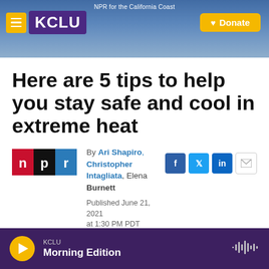NPR for the California Coast — KCLU
Here are 5 tips to help you stay safe and cool in extreme heat
By Ari Shapiro, Christopher Intagliata, Elena Burnett
Published June 21, 2021 at 1:30 PM PDT
KCLU Morning Edition